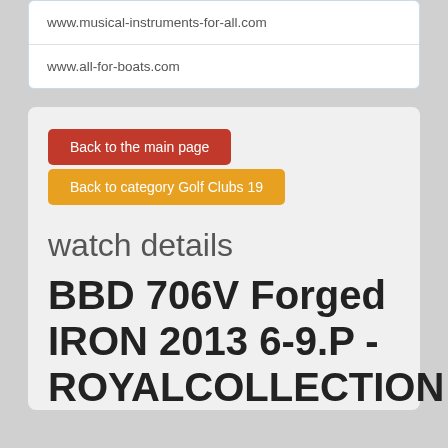www.musical-instruments-for-all.com
www.all-for-boats.com
Back to the main page
Back to category Golf Clubs 19
watch details
BBD 706V Forged IRON 2013 6-9.P - ROYALCOLLECTION